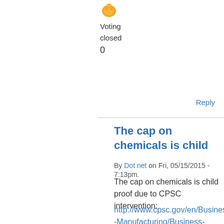[Figure (illustration): Small orange/yellow trophy or award icon]
Voting
closed
0
Reply
The cap on chemicals is child
By Dot net on Fri, 05/15/2015 - 7:13pm.
The cap on chemicals is child proof due to CPSC intervention:
http://www.cpsc.gov/en/Business--Manufacturing/Business-Education/Busine...
There was no such regulatory agency to secure the weapon in